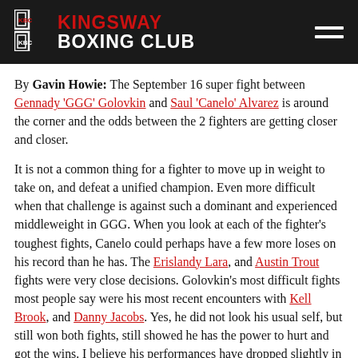Kingsway Boxing Club
By Gavin Howie: The September 16 super fight between Gennady 'GGG' Golovkin and Saul 'Canelo' Alvarez is around the corner and the odds between the 2 fighters are getting closer and closer.
It is not a common thing for a fighter to move up in weight to take on, and defeat a unified champion. Even more difficult when that challenge is against such a dominant and experienced middleweight in GGG. When you look at each of the fighter's toughest fights, Canelo could perhaps have a few more loses on his record than he has. The Erislandy Lara, and Austin Trout fights were very close decisions. Golovkin's most difficult fights most people say were his most recent encounters with Kell Brook, and Danny Jacobs. Yes, he did not look his usual self, but still won both fights, still showed he has the power to hurt and got the wins. I believe his performances have dropped slightly in his past 2 fights, are due to him being frustrated at not getting his big fight